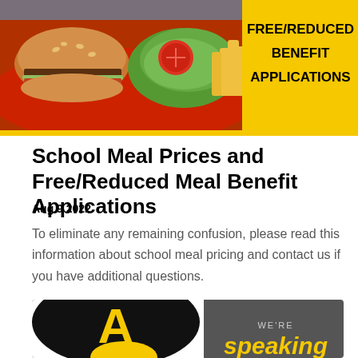[Figure (photo): Banner image showing school lunch tray with hamburger and salad on left, yellow background with text FREE/REDUCED BENEFIT APPLICATIONS on right]
School Meal Prices and Free/Reduced Meal Benefit Applications
Aug 9 2022
To eliminate any remaining confusion, please read this information about school meal pricing and contact us if you have additional questions.
[Figure (infographic): Dark gray banner with white background on left side showing a large black oval with yellow letter A and a yellow oval below it. Right side shows text: WE'RE speaking]